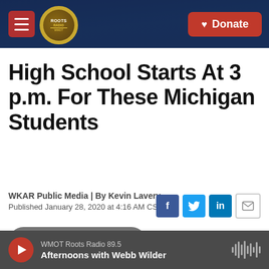ROOTS RADIO | Donate
High School Starts At 3 p.m. For These Michigan Students
WKAR Public Media | By Kevin Lavery
Published January 28, 2020 at 4:16 AM CST
LISTEN • 3:47
WMOT Roots Radio 89.5 | Afternoons with Webb Wilder